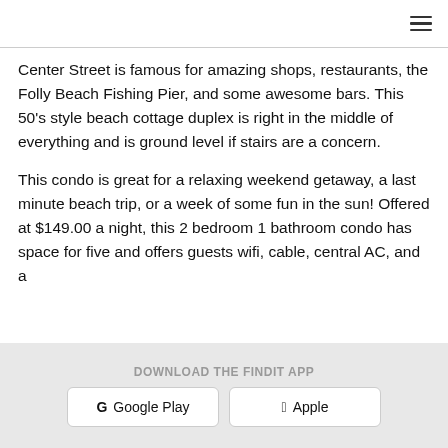≡
Center Street is famous for amazing shops, restaurants, the Folly Beach Fishing Pier, and some awesome bars. This 50's style beach cottage duplex is right in the middle of everything and is ground level if stairs are a concern.
This condo is great for a relaxing weekend getaway, a last minute beach trip, or a week of some fun in the sun! Offered at $149.00 a night, this 2 bedroom 1 bathroom condo has space for five and offers guests wifi, cable, central AC, and a
DOWNLOAD THE FINDIT APP | Google Play | Apple